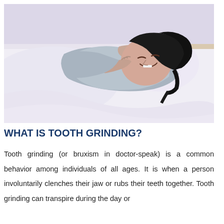[Figure (photo): Woman sleeping in bed on white pillows, wearing a light grey sweater, with eyes closed and a slight grimace suggesting tooth grinding (bruxism), in a bedroom setting.]
WHAT IS TOOTH GRINDING?
Tooth grinding (or bruxism in doctor-speak) is a common behavior among individuals of all ages. It is when a person involuntarily clenches their jaw or rubs their teeth together. Tooth grinding can transpire during the day or